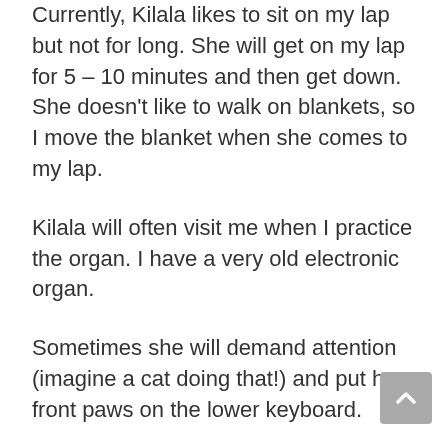Currently, Kilala likes to sit on my lap but not for long. She will get on my lap for 5 – 10 minutes and then get down. She doesn't like to walk on blankets, so I move the blanket when she comes to my lap.
Kilala will often visit me when I practice the organ. I have a very old electronic organ.
Sometimes she will demand attention (imagine a cat doing that!) and put her front paws on the lower keyboard.
Other times, she will sit beside my on the bench and look out the window. Or survey the